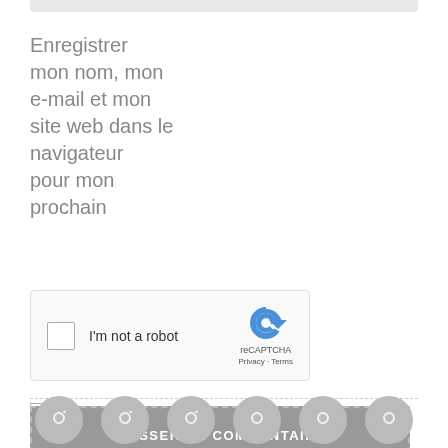Enregistrer mon nom, mon e-mail et mon site web dans le navigateur pour mon prochain commentaire.
[Figure (screenshot): reCAPTCHA widget with checkbox labeled 'I'm not a robot' and Google reCAPTCHA logo with Privacy and Terms links]
LAISSER UN COMMENTAIRE
[Figure (illustration): Row of 6 circular social media share icons in grey at the bottom of the page]